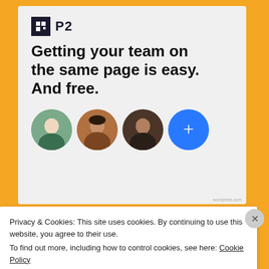[Figure (screenshot): P2 app promotional card on orange background showing logo, headline text, and team member avatars with a plus button]
Getting your team on the same page is easy. And free.
Share this:
Privacy & Cookies: This site uses cookies. By continuing to use this website, you agree to their use.
To find out more, including how to control cookies, see here: Cookie Policy
Close and accept